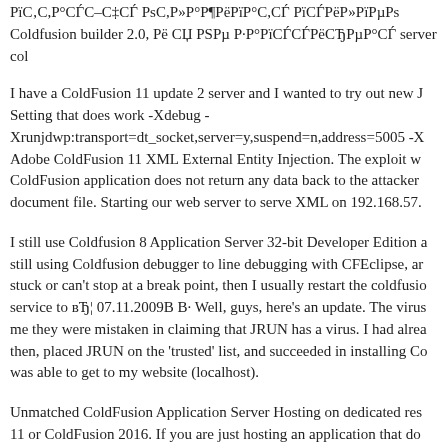РїС‚С,Р°СЃС–С‡СЃ РsС,Р»Р°Р¶РёРїР°С,СЃ РїСЃРёР»РїРµРs Coldfusion builder 2.0, Рё СЏ PSРµ Р·Р°РїСЃСЃРёСЂРµР°СЃ server col
I have a ColdFusion 11 update 2 server and I wanted to try out new J Setting that does work -Xdebug -Xrunjdwp:transport=dt_socket,server=y,suspend=n,address=5005 -X Adobe ColdFusion 11 XML External Entity Injection. The exploit w ColdFusion application does not return any data back to the attacker document file. Starting our web server to serve XML on 192.168.57.
I still use Coldfusion 8 Application Server 32-bit Developer Edition a still using Coldfusion debugger to line debugging with CFEclipse, ar stuck or can't stop at a break point, then I usually restart the coldfusio service to вЂ¦ 07.11.2009В В· Well, guys, here's an update. The virus me they were mistaken in claiming that JRUN has a virus. I had alrea then, placed JRUN on the 'trusted' list, and succeeded in installing Co was able to get to my website (localhost).
Unmatched ColdFusion Application Server Hosting on dedicated res 11 or ColdFusion 2016. If you are just hosting an application that do